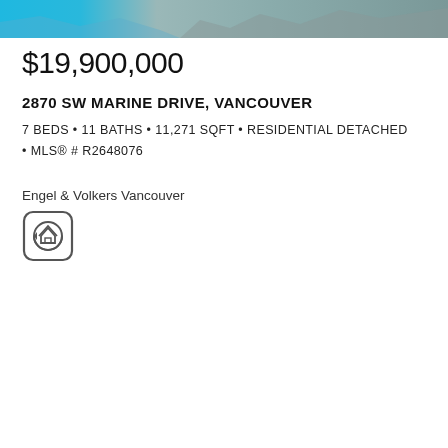[Figure (photo): Partial aerial/exterior photo of a luxury residential property, showing roof and surroundings, cropped at top of page.]
$19,900,000
2870 SW MARINE DRIVE, VANCOUVER
7 BEDS • 11 BATHS • 11,271 SQFT • RESIDENTIAL DETACHED • MLS® # R2648076
Engel & Volkers Vancouver
[Figure (logo): Realtor.ca house logo inside a rounded square border.]